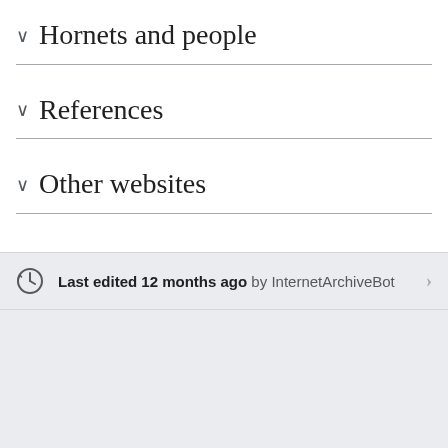Hornets and people
References
Other websites
Last edited 12 months ago by InternetArchiveBot